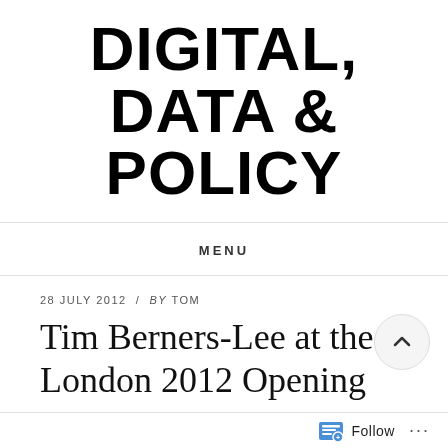DIGITAL, DATA & POLICY
MENU
28 JULY 2012 / by TOM
Tim Berners-Lee at the London 2012 Opening